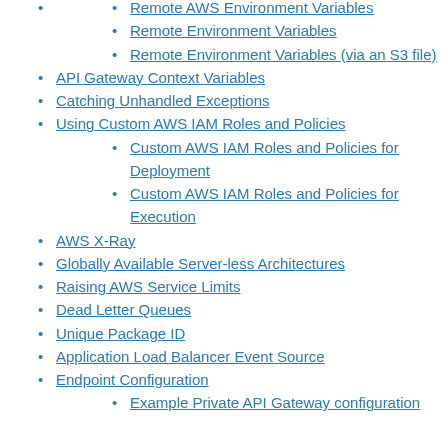Remote AWS Environment Variables
Remote Environment Variables
Remote Environment Variables (via an S3 file)
API Gateway Context Variables
Catching Unhandled Exceptions
Using Custom AWS IAM Roles and Policies
Custom AWS IAM Roles and Policies for Deployment
Custom AWS IAM Roles and Policies for Execution
AWS X-Ray
Globally Available Server-less Architectures
Raising AWS Service Limits
Dead Letter Queues
Unique Package ID
Application Load Balancer Event Source
Endpoint Configuration
Example Private API Gateway configuration